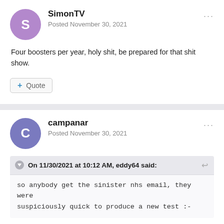SimonTV
Posted November 30, 2021
Four boosters per year, holy shit, be prepared for that shit show.
+ Quote
campanar
Posted November 30, 2021
On 11/30/2021 at 10:12 AM, eddy64 said:
so anybody get the sinister nhs email, they were suspiciously quick to produce a new test :-